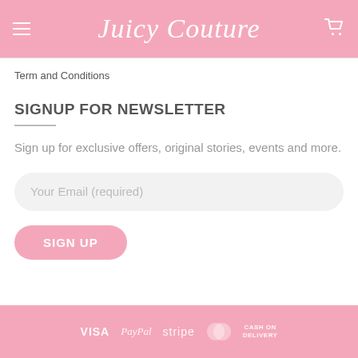Juicy Couture
Term and Conditions
SIGNUP FOR NEWSLETTER
Sign up for exclusive offers, original stories, events and more.
Your Email (required)
SIGN UP
VISA PayPal stripe mastercard CASH ON DELIVERY